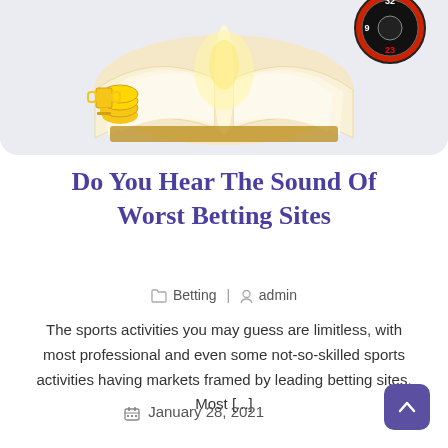[Figure (illustration): Hero image showing an open book with golden light, coins, and a roulette wheel element in the upper right, on a light grey rounded card background.]
Do You Hear The Sound Of Worst Betting Sites
📁 Betting | 👤 admin
The sports activities you may guess are limitless, with most professional and even some not-so-skilled sports activities having markets framed by leading betting sites. Most [...]
📅 January 28, 2021